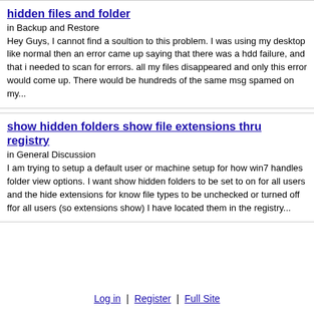hidden files and folder
in Backup and Restore
Hey Guys, I cannot find a soultion to this problem. I was using my desktop like normal then an error came up saying that there was a hdd failure, and that i needed to scan for errors. all my files disappeared and only this error would come up. There would be hundreds of the same msg spamed on my...
show hidden folders show file extensions thru registry
in General Discussion
I am trying to setup a default user or machine setup for how win7 handles folder view options. I want show hidden folders to be set to on for all users and the hide extensions for know file types to be unchecked or turned off ffor all users (so extensions show) I have located them in the registry...
Log in | Register | Full Site